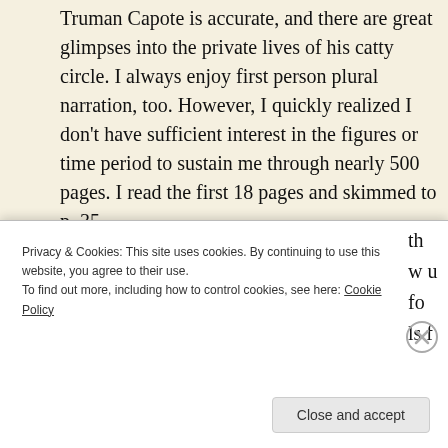Truman Capote is accurate, and there are great glimpses into the private lives of his catty circle. I always enjoy first person plural narration, too. However, I quickly realized I don't have sufficient interest in the figures or time period to sustain me through nearly 500 pages. I read the first 18 pages and skimmed to p. 35.
Number One Chinese Restaurant by Lilian Li:
Privacy & Cookies: This site uses cookies. By continuing to use this website, you agree to their use.
To find out more, including how to control cookies, see here: Cookie Policy